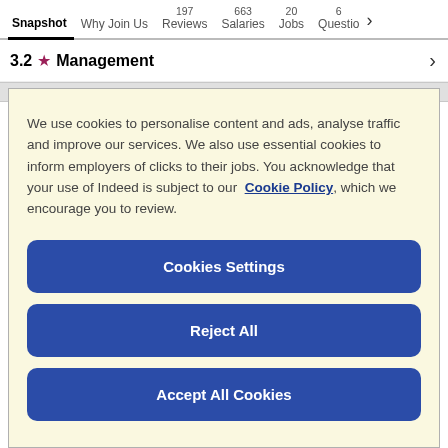Snapshot  Why Join Us  197 Reviews  663 Salaries  20 Jobs  6 Questions >
3.2 ★ Management
We use cookies to personalise content and ads, analyse traffic and improve our services. We also use essential cookies to inform employers of clicks to their jobs. You acknowledge that your use of Indeed is subject to our Cookie Policy, which we encourage you to review.
Cookies Settings
Reject All
Accept All Cookies